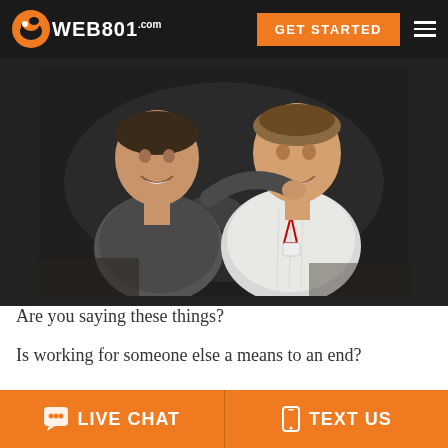WEB801.com — GET STARTED
[Figure (photo): Two men smiling with arms around each other; one wearing a grey t-shirt, the other in a white collared shirt with a lanyard]
Are you saying these things?
Is working for someone else a means to an end?
LIVE CHAT   TEXT US